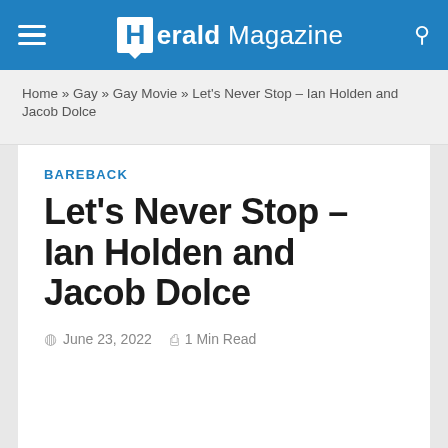Herald Magazine
Home » Gay » Gay Movie » Let's Never Stop – Ian Holden and Jacob Dolce
BAREBACK
Let's Never Stop – Ian Holden and Jacob Dolce
June 23, 2022  1 Min Read